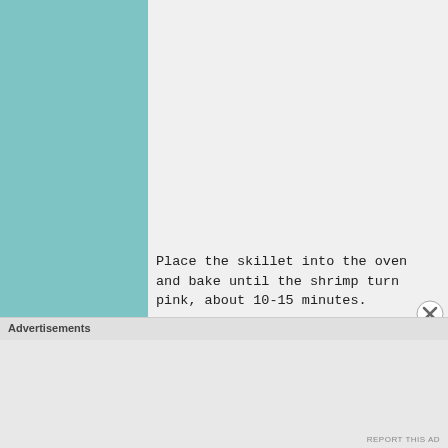[Figure (photo): A dark skillet/pan containing crumbled white feta cheese on top of vegetables including tomatoes and onions, cooking on a stovetop]
Place the skillet into the oven and bake until the shrimp turn pink, about 10-15 minutes.
Garnish with the chopped parsley and olives and quarters..
Advertisements